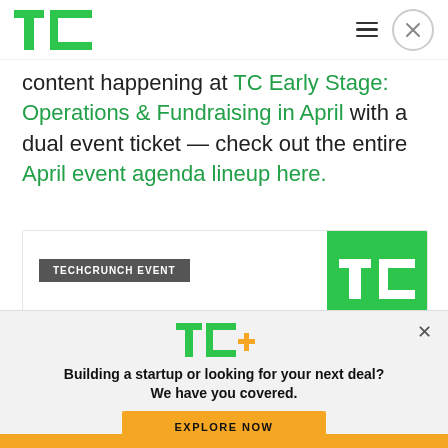TechCrunch logo, hamburger menu, close button
content happening at TC Early Stage: Operations & Fundraising in April with a dual event ticket — check out the entire April event agenda lineup here.
[Figure (screenshot): TechCrunch event card showing 'TECHCRUNCH EVENT' badge and 'TC Sessions: Crypto' title with green TC logo graphic]
[Figure (logo): TC+ logo overlay with text 'Building a startup or looking for your next deal? We have you covered.' and EXPLORE NOW button]